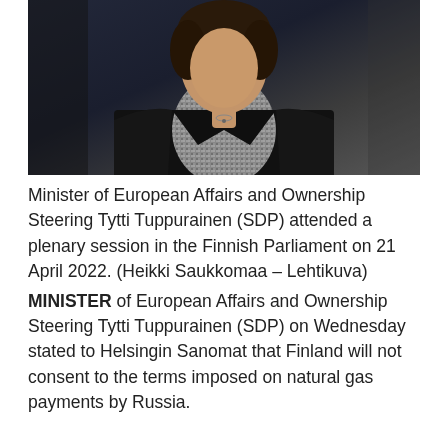[Figure (photo): Photograph of a person (Minister Tytti Tuppurainen) against a dark background, wearing a black jacket and patterned top, cropped at upper body level.]
Minister of European Affairs and Ownership Steering Tytti Tuppurainen (SDP) attended a plenary session in the Finnish Parliament on 21 April 2022. (Heikki Saukkomaa – Lehtikuva)
MINISTER of European Affairs and Ownership Steering Tytti Tuppurainen (SDP) on Wednesday stated to Helsingin Sanomat that Finland will not consent to the terms imposed on natural gas payments by Russia.